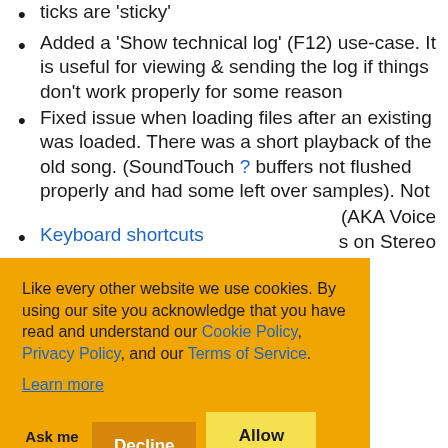ticks are 'sticky'
Added a 'Show technical log' (F12) use-case. It is useful for viewing & sending the log if things don't work properly for some reason
Fixed issue when loading files after an existing was loaded. There was a short playback of the old song. (SoundTouch ? buffers not flushed properly and had some left over samples). Not [partially obscured]
(AKA Voice [partially visible] s on Stereo
Like every other website we use cookies. By using our site you acknowledge that you have read and understand our Cookie Policy, Privacy Policy, and our Terms of Service. Learn more
Keyboard shortcuts